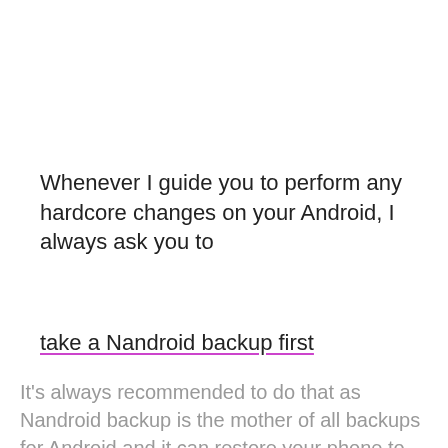Whenever I guide you to perform any hardcore changes on your Android, I always ask you to
take a Nandroid backup first
It's always recommended to do that as Nandroid backup is the mother of all backups for Android and it can restore your phone to exactly the same condition even after a